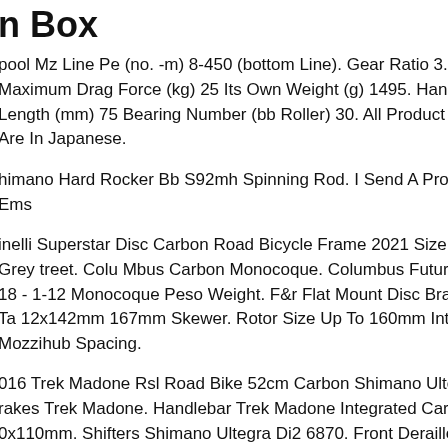n Box
pool Mz Line Pe (no. -m) 8-450 (bottom Line). Gear Ratio 3.1 Maximum Drag Force (kg) 25 Its Own Weight (g) 1495. Handle Length (mm) 75 Bearing Number (bb Roller) 30. All Product Manuals Are In Japanese.
himano Hard Rocker Bb S92mh Spinning Rod. I Send A Product By Ems
inelli Superstar Disc Carbon Road Bicycle Frame 2021 Size Xs-xl Grey treet. Colu Mbus Carbon Monocoque. Columbus Futura Disc 1-18 - 1-12 Monocoque Peso Weight. F&r Flat Mount Disc Brake. Rear Ta 12x142mm 167mm Skewer. Rotor Size Up To 160mm Interasse Mozzihub Spacing.
016 Trek Madone Rsl Road Bike 52cm Carbon Shimano Ultegra Di2. rakes Trek Madone. Handlebar Trek Madone Integrated Carbon, 0x110mm. Shifters Shimano Ultegra Di2 6870. Front Derailleur Shimano Ultegra Di2 6870. Rear Derailleur Shimano Ultegra Di2 6870. Cassette himano Ultegra R8000, 11-28t.
Sava 6.0 Full Carbon Fiber 22 Speed Shimano 105 Road Racing